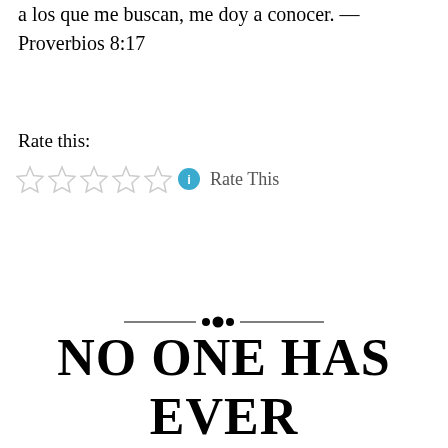a los que me buscan, me doy a conocer. — Proverbios 8:17
Rate this:
[Figure (other): Five empty star rating icons followed by a blue info icon and 'Rate This' text]
[Figure (illustration): Decorative horizontal divider with ornamental dots in the center]
NO ONE HAS EVER